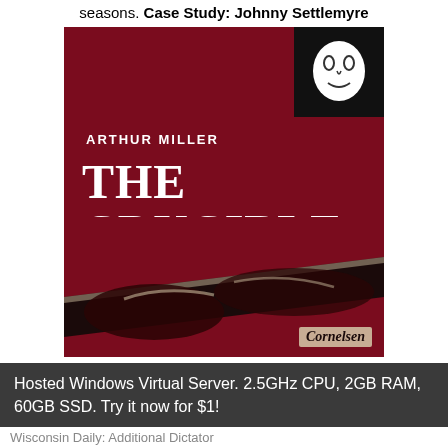seasons. Case Study: Johnny Settlemyre
[Figure (illustration): Book cover of 'The Crucible' by Arthur Miller, published by Cornelsen. Dark red/crimson background with white serif title text 'THE CRUCIBLE', author name 'ARTHUR MILLER' in white uppercase letters, a theatre mask logo in a black box in the top-right corner, dramatic hands reaching in the lower portion of the cover.]
Hosted Windows Virtual Server. 2.5GHz CPU, 2GB RAM, 60GB SSD. Try it now for $1!
Wisconsin Daily: Additional Dictator